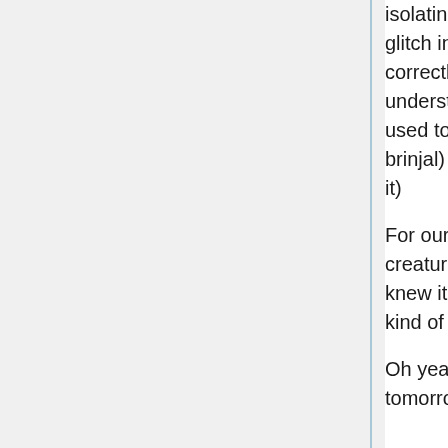isolating genes. Its something like fixing a bug or glitch in a software by comparing it with a correctly written one. The same principals of understanding what gene does what can be used to create genetically modified crops (BT brinjal) and even pets (like the glofish... google it)
For our next assignment we had to 'create' a creature (any creature). This was just way cool. I knew it was just on paper, but the prospect of kind of playing god was exciting.
Oh yeah I think we are gonna extract DNA tomorrow, quite excited.
18 May 2010 We started watching the BBC series of the cell; what a journey!!!. It left me a little dazed to think about millions of tiny little creatures evolving to